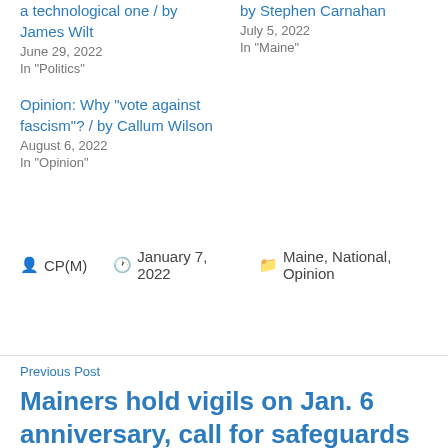a technological one / by James Wilt
June 29, 2022
In "Politics"
by Stephen Carnahan
July 5, 2022
In "Maine"
Opinion: Why “vote against fascism”? / by Callum Wilson
August 6, 2022
In "Opinion"
CP(M)   January 7, 2022   Maine, National, Opinion
Previous Post
Mainers hold vigils on Jan. 6 anniversary, call for safeguards for democracy